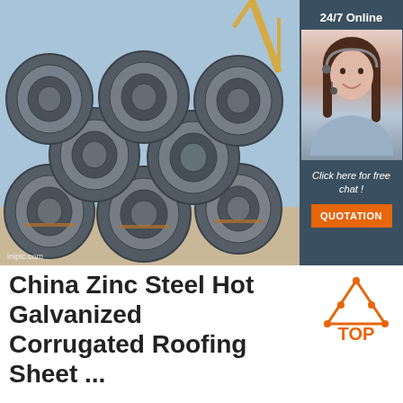[Figure (photo): Stacked steel wire rod coils on a construction site with a crane visible in the background, and a customer service sidebar overlay on the right showing a female agent with headset, '24/7 Online' text, 'Click here for free chat!' text, and an orange QUOTATION button]
China Zinc Steel Hot Galvanized Corrugated Roofing Sheet ...